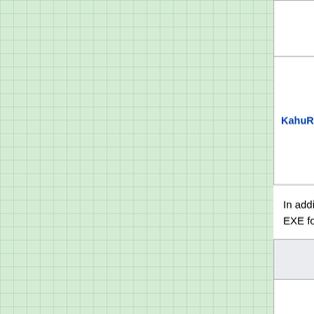|  |  |  |
| --- | --- | --- |
|  |  | the final version |
| KahuRide.swf [link] | KewaRide.swf | Mockup animation from which nothing functional is borrowed by its successor |
In addition to the above, the game contains 18 ZIP files that each hold a copy of a cutscene in EXE format. Several of these are different from the final versions.
| Cutscene Name | Final Version | Differences |
| --- | --- | --- |
|  |  | Loops upon |